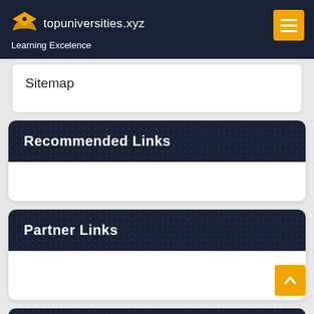topuniversities.xyz – Learning Excelence
Sitemap
Recommended Links
Partner Links
Visit